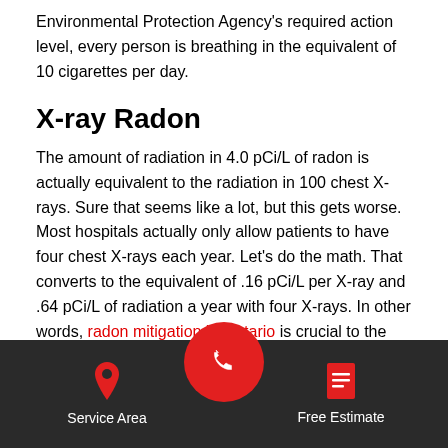Environmental Protection Agency's required action level, every person is breathing in the equivalent of 10 cigarettes per day.
X-ray Radon
The amount of radiation in 4.0 pCi/L of radon is actually equivalent to the radiation in 100 chest X-rays. Sure that seems like a lot, but this gets worse. Most hospitals actually only allow patients to have four chest X-rays each year. Let's do the math. That converts to the equivalent of .16 pCi/L per X-ray and .64 pCi/L of radiation a year with four X-rays. In other words, radon mitigation in Ontario is crucial to the overall health of any homeowner in this state.
Protect your ho...om radon today
[Figure (infographic): Dark bottom navigation bar with Service Area (map pin icon, left), a red circular phone call button (center), and Free Estimate (document icon, right)]